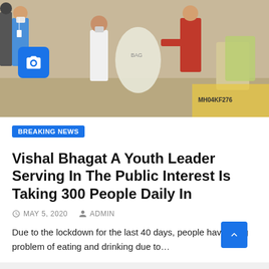[Figure (photo): People wearing masks distributing food bags/sacks outdoors, a man in a white vest receiving a large bag from a person in a red checkered shirt, with sacks visible in the background near a vehicle with number plate MH04KF276]
BREAKING NEWS
Vishal Bhagat A Youth Leader Serving In The Public Interest Is Taking 300 People Daily In
MAY 5, 2020   ADMIN
Due to the lockdown for the last 40 days, people have a big problem of eating and drinking due to…